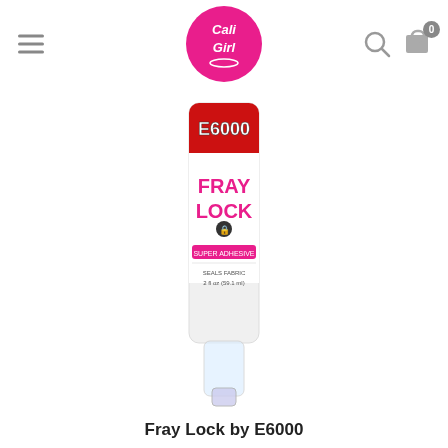Cali Girl (logo) - navigation header with hamburger menu, search icon, cart icon with badge 0
[Figure (photo): E6000 Fray Lock fabric sealant product in a white tube with pink and red label, 2 fl oz (59.1 ml), shown vertically]
Fray Lock by E6000